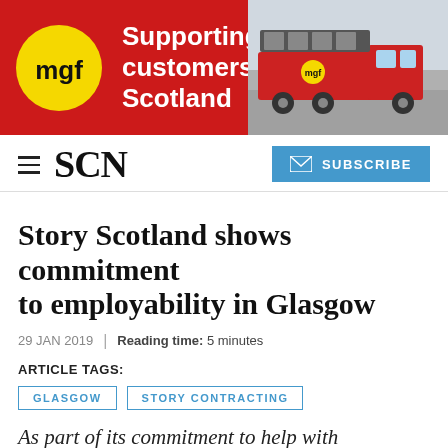[Figure (infographic): MGF advertisement banner with red background, yellow circle MGF logo on left, bold white text 'Supporting our customers in Scotland' in center, and a red truck/lorry on the right side]
SCN
Story Scotland shows commitment to employability in Glasgow
29 JAN 2019 | Reading time: 5 minutes
ARTICLE TAGS:
GLASGOW
STORY CONTRACTING
As part of its commitment to help with